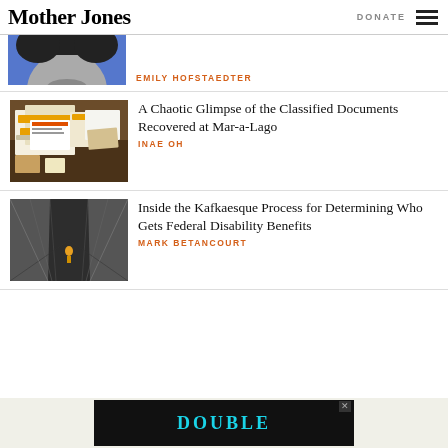Mother Jones | DONATE
[Figure (photo): Partial view of a woman's face, black and white photo on blue background]
EMILY HOFSTAEDTER
[Figure (photo): Photograph of classified documents spread out on a patterned carpet, including papers with colored covers]
A Chaotic Glimpse of the Classified Documents Recovered at Mar-a-Lago
INAE OH
[Figure (photo): Interior tunnel or shaft looking upward, with a small figure visible, dark and narrow perspective]
Inside the Kafkaesque Process for Determining Who Gets Federal Disability Benefits
MARK BETANCOURT
[Figure (photo): Advertisement banner at bottom showing DOUBLE text in cyan on dark background]